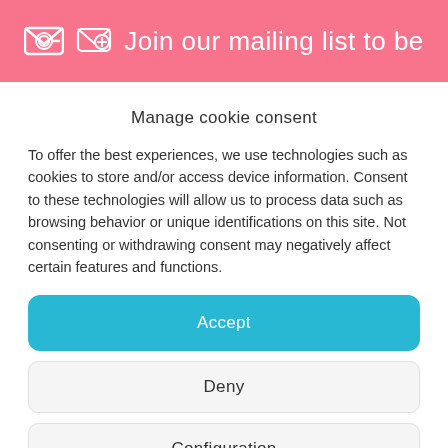Join our mailing list to be
Manage cookie consent
To offer the best experiences, we use technologies such as cookies to store and/or access device information. Consent to these technologies will allow us to process data such as browsing behavior or unique identifications on this site. Not consenting or withdrawing consent may negatively affect certain features and functions.
Accept
Deny
Configuration
Cookies Policy  Privacy Policy